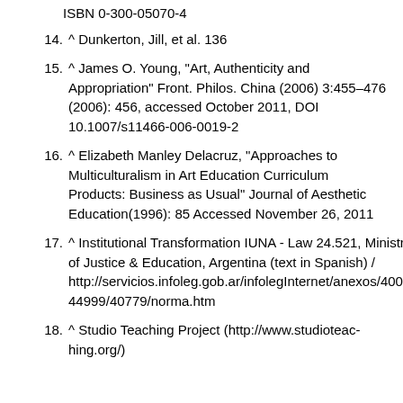ISBN 0-300-05070-4
14. ^ Dunkerton, Jill, et al. 136
15. ^ James O. Young, "Art, Authenticity and Appropriation" Front. Philos. China (2006) 3:455–476 (2006): 456, accessed October 2011, DOI 10.1007/s11466-006-0019-2
16. ^ Elizabeth Manley Delacruz, "Approaches to Multiculturalism in Art Education Curriculum Products: Business as Usual" Journal of Aesthetic Education(1996): 85 Accessed November 26, 2011
17. ^ Institutional Transformation IUNA - Law 24.521, Ministry of Justice & Education, Argentina (text in Spanish) / http://servicios.infoleg.gob.ar/infolegInternet/anexos/40000-44999/40779/norma.htm
18. ^ Studio Teaching Project (http://www.studioteaching.org/)